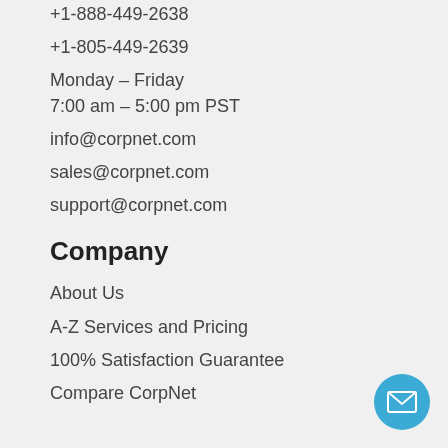+1-888-449-2638
+1-805-449-2639
Monday – Friday
7:00 am – 5:00 pm PST
info@corpnet.com
sales@corpnet.com
support@corpnet.com
Company
About Us
A-Z Services and Pricing
100% Satisfaction Guarantee
Compare CorpNet